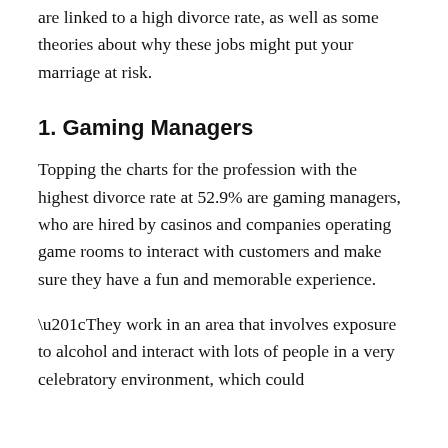are linked to a high divorce rate, as well as some theories about why these jobs might put your marriage at risk.
1. Gaming Managers
Topping the charts for the profession with the highest divorce rate at 52.9% are gaming managers, who are hired by casinos and companies operating game rooms to interact with customers and make sure they have a fun and memorable experience.
“They work in an area that involves exposure to alcohol and interact with lots of people in a very celebratory environment, which could